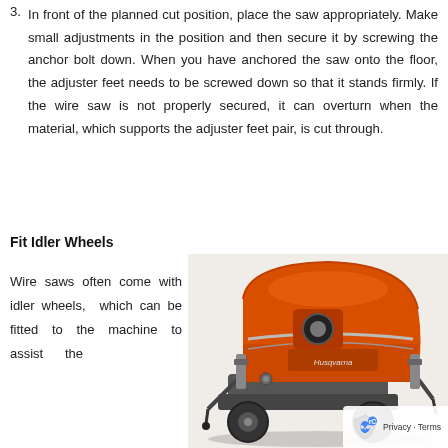3. In front of the planned cut position, place the saw appropriately. Make small adjustments in the position and then secure it by screwing the anchor bolt down. When you have anchored the saw onto the floor, the adjuster feet needs to be screwed down so that it stands firmly. If the wire saw is not properly secured, it can overturn when the material, which supports the adjuster feet pair, is cut through.
Fit Idler Wheels
Wire saws often come with idler wheels, which can be fitted to the machine to assist the
[Figure (photo): Orange Husqvarna wire saw machine photographed from the front-right angle, showing the orange body casing with Husqvarna branding, metal frame, and handle bars.]